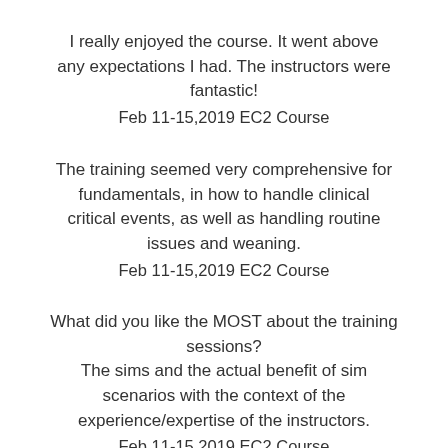I really enjoyed the course. It went above any expectations I had. The instructors were fantastic!
Feb 11-15,2019 EC2 Course
The training seemed very comprehensive for fundamentals, in how to handle clinical critical events, as well as handling routine issues and weaning.
Feb 11-15,2019 EC2 Course
What did you like the MOST about the training sessions?
The sims and the actual benefit of sim scenarios with the context of the experience/expertise of the instructors.
Feb 11-15,2019 EC2 Course